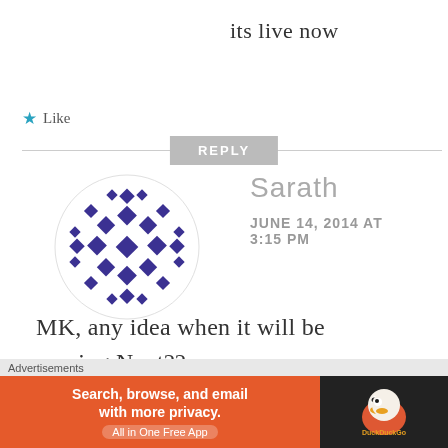its live now
★ Like
REPLY
[Figure (illustration): Sarath user avatar — decorative geometric diamond/star pattern in dark blue/purple on white circular background]
Sarath
JUNE 14, 2014 AT 3:15 PM
MK, any idea when it will be coming Next??
[Figure (other): Close/dismiss button circle with X]
Advertisements
[Figure (other): DuckDuckGo advertisement banner: orange left side with text 'Search, browse, and email with more privacy. All in One Free App', dark right side with DuckDuckGo duck logo]